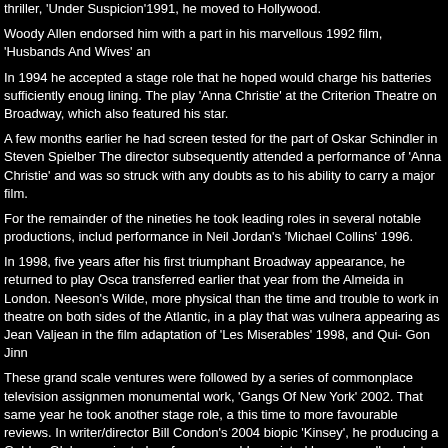thriller, 'Under Suspicion'1991, he moved to Hollywood.
Woody Allen endorsed him with a part in his marvellous 1992 film, 'Husbands And Wives' an
In 1994 he accepted a stage role that he hoped would charge his batteries sufficiently enoug lining. The play 'Anna Christie' at the Criterion Theatre on Broadway, which also featured his star.
A few months earlier he had screen tested for the part of Oskar Schindler in Steven Spielber The director subsequently attended a performance of 'Anna Christie' and was so struck with any doubts as to his ability to carry a major film.
For the remainder of the nineties he took leading roles in several notable productions, includ performance in Neil Jordan's 'Michael Collins' 1996.
In 1998, five years after his first triumphant Broadway appearance, he returned to play Osca transferred earlier that year from the Almeida in London. Neeson's Wilde, more physical than the time and trouble to work in theatre on both sides of the Atlantic, in a play that was vulnera appearing as Jean Valjean in the film adaptation of 'Les Miserables' 1998, and Qui- Gon Jinn
These grand scale ventures were followed by a series of commonplace television assignmen monumental work, 'Gangs Of New York' 2002. That same year he took another stage role, a this time to more favourable reviews. In writer/director Bill Condon's 2004 biopic 'Kinsey', he producing a Golden Globe nominated performance, ably assisted by an equally adept Laura
Three very different roles during 2005/6 consolidated his high versatility rating, he was Henri followed this with a cameo as Father Liam, in Neil Jordan's acclaimed comedy drama 'Break revenge western, 'Seraphim Falls, he played Colonel Morsman Carver, relentlessly hunting d superhuman ex -CIA agent Bryan Mills, in director Pierre Morel's at times preposterous actio
With his screen output now accepted as prolific, the only minor drawback seemed to be the d This was not the case with the television adaptation of Guy Hibbert's 'Five Minutes of Heave erotic thriller 'Chloe', co-starring Julianne Moore, both 2009. However he certainly was not st